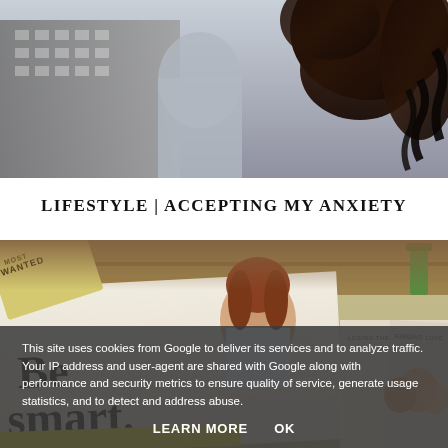[Figure (photo): Photo of a person with curly dark hair seen from behind/side, with urban buildings in the background. Blurred bokeh effect.]
LIFESTYLE | ACCEPTING MY ANXIETY
[Figure (photo): Photo of magazines on a surface, including one with 'Be smart.' text in large letters and a woman on the cover, and another partially visible magazine with 'MOST WANTED' text.]
This site uses cookies from Google to deliver its services and to analyze traffic. Your IP address and user-agent are shared with Google along with performance and security metrics to ensure quality of service, generate usage statistics, and to detect and address abuse.
LEARN MORE    OK